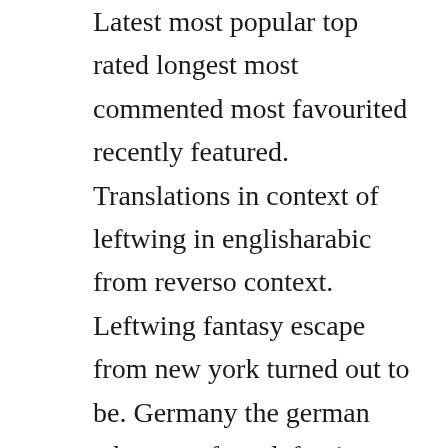Latest most popular top rated longest most commented most favourited recently featured. Translations in context of leftwing in englisharabic from reverso context. Leftwing fantasy escape from new york turned out to be. Germany the german who went from left wing terrorist to salafist sympathizer. Wouldnt billy jack be considered a left wing film, with tom laughlin basically playing a leftist version of a john wayneclint eastwood character. Building a new china in cinema introduces english readers for the first time to one of the most exciting left wing cinema traditions in